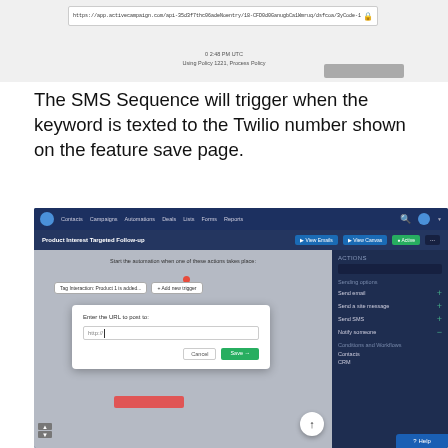[Figure (screenshot): Partial screenshot showing a URL bar with a long URL and a caption area below, cropped at top of page]
The SMS Sequence will trigger when the keyword is texted to the Twilio number shown on the feature save page.
[Figure (screenshot): Screenshot of an automation platform (ActiveCampaign-style) showing the Product Interest Targeted Follow-up automation page with a modal dialog asking to Enter the URL to post to, with a Cancel and Save button. Right sidebar shows Actions including Send email, Send a site message, Send SMS, Notify someone, Conditions and Workflows, Connect, CRM options.]